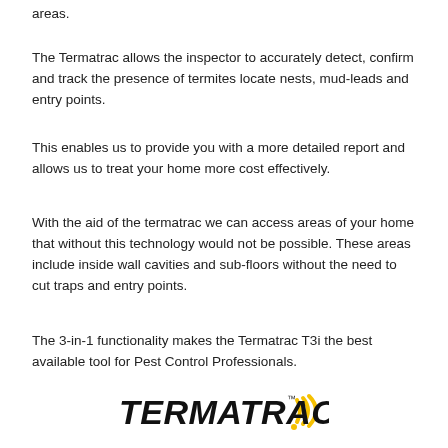areas.
The Termatrac allows the inspector to accurately detect, confirm and track the presence of termites locate nests, mud-leads and entry points.
This enables us to provide you with a more detailed report and allows us to treat your home more cost effectively.
With the aid of the termatrac we can access areas of your home that without this technology would not be possible. These areas include inside wall cavities and sub-floors without the need to cut traps and entry points.
The 3-in-1 functionality makes the Termatrac T3i the best available tool for Pest Control Professionals.
[Figure (logo): Termatrac logo with stylized text and signal waves icon]